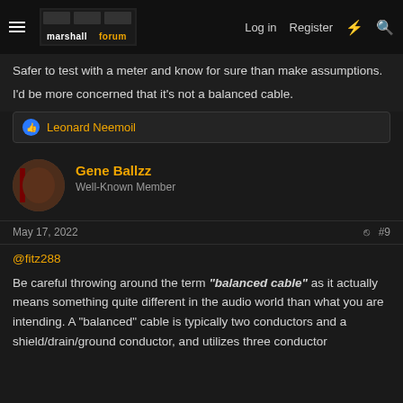marshallforum — Log in  Register
Safer to test with a meter and know for sure than make assumptions.
I'd be more concerned that it's not a balanced cable.
👍 Leonard Neemoil
Gene Ballzz
Well-Known Member
May 17, 2022  #9
@fitz288
Be careful throwing around the term "balanced cable" as it actually means something quite different in the audio world than what you are intending. A "balanced" cable is typically two conductors and a shield/drain/ground conductor, and utilizes three conductor connectors (like an xlr or trs cable), typically XLR...